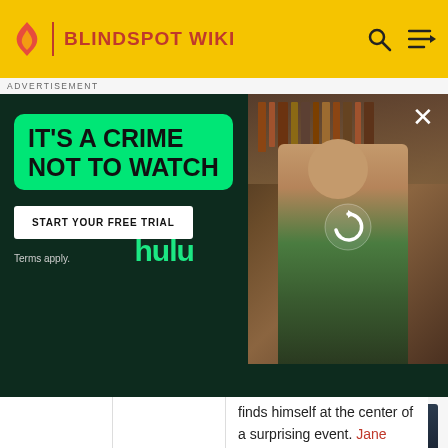BLINDSPOT WIKI
[Figure (screenshot): Hulu advertisement overlay: dark green background with 'IT'S A CRIME NOT TO WATCH' in bright green box, 'START YOUR FREE TRIAL' button, 'hulu' logo in green, and a photo of a person holding something in a library setting. Close button (X) in top right. 'ADVERTISEMENT' label above.]
|  |  | finds himself at the center of a surprising event. Jane faces an uncertain future. |
Gallery
[Figure (photo): Gallery image 1: Cast photo of Blindspot TV show with multiple actors in a dark blue/teal setting]
[Figure (photo): Gallery image 2: Another cast photo of Blindspot TV show with multiple actors in a dark blue setting]